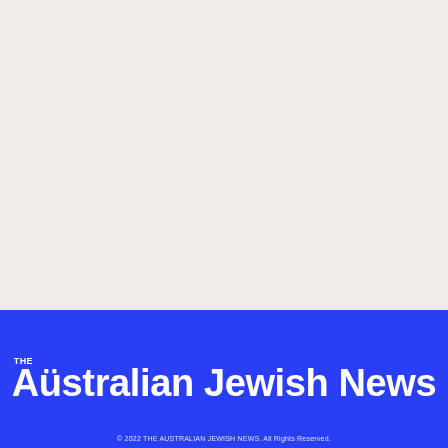[Figure (other): Large blank off-white/cream colored area occupying the upper portion of the page]
THE Australian Jewish News
© 2022 THE AUSTRALIAN JEWISH NEWS. All Rights Reserved.